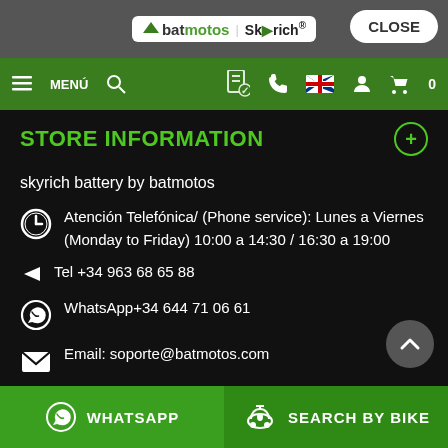batmotos Skyrich — CLOSE
STORE INFORMATION
skyrich battery by batmotos
Atención Telefónica/ (Phone service): Lunes a Viernes (Monday to Friday) 10:00 a 14:30 / 16:30 a 19:00
Tel +34 963 68 65 88
WhatsApp+34 644 71 06 61
Email: soporte@batmotos.com
WHATSAPP  SEARCH BY BIKE